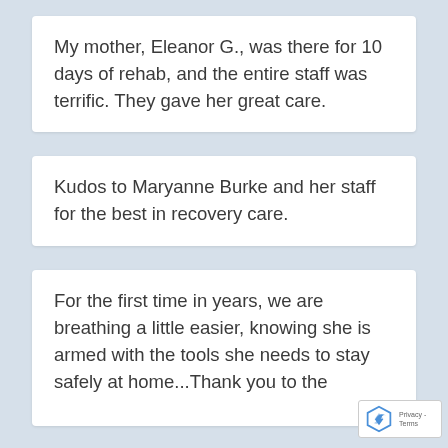My mother, Eleanor G., was there for 10 days of rehab, and the entire staff was terrific. They gave her great care.
Kudos to Maryanne Burke and her staff for the best in recovery care.
For the first time in years, we are breathing a little easier, knowing she is armed with the tools she needs to stay safely at home...Thank you to the